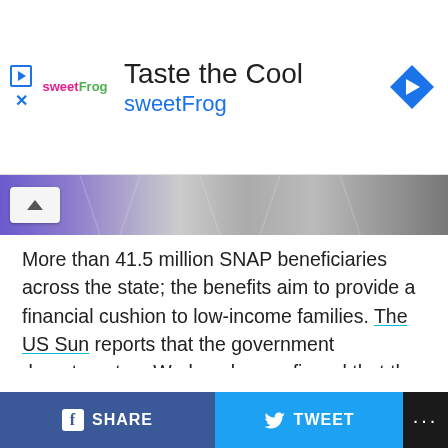[Figure (other): Advertisement banner for sweetFrog: 'Taste the Cool' with sweetFrog logo and navigation icon]
[Figure (photo): Partial image of paper currency/money bills with a chevron-up button overlay]
More than 41.5 million SNAP beneficiaries across the state; the benefits aim to provide a financial cushion to low-income families. The US Sun reports that the government department on Wednesday confirmed that the beneficiaries would receive the amount through their Electronic Bank Transfer (EBT) cards on January 16. Each state distributes the payments on different dates and follows a different pattern.
Families Lying Within The
SHARE   TWEET   ...